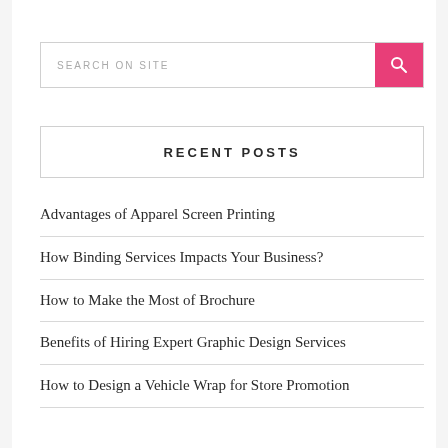[Figure (screenshot): Search bar with placeholder text 'SEARCH ON SITE' and a pink search button with magnifying glass icon]
RECENT POSTS
Advantages of Apparel Screen Printing
How Binding Services Impacts Your Business?
How to Make the Most of Brochure
Benefits of Hiring Expert Graphic Design Services
How to Design a Vehicle Wrap for Store Promotion